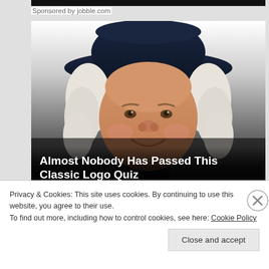Sponsored by jobble.com
[Figure (illustration): Illustrated character resembling Quaker Oats man wearing a dark wide-brimmed hat and white colonial-era wig, smiling, against a gradient background fading from white to dark gray/black at the bottom.]
Almost Nobody Has Passed This Classic Logo Quiz
WarnedSpeed
Privacy & Cookies: This site uses cookies. By continuing to use this website, you agree to their use.
To find out more, including how to control cookies, see here: Cookie Policy
Close and accept